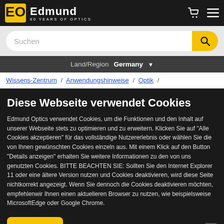Edmund Optics – 80 YEARS OF OPTICS
Suchen
Land/Region  Germany
Wissens-Zentrum / Anwendungshinweise / Optik /
Diese Webseite verwendet Cookies
Edmund Optics verwendet Cookies, um die Funktionen und den Inhalt auf unserer Webseite stets zu optimieren und zu erweitern. Klicken Sie auf "Alle Cookies akzeptieren" für das vollständige Nutzererlebnis oder wählen Sie die von Ihnen gewünschten Cookies einzeln aus. Mit einem Klick auf den Button "Details anzeigen" erhalten Sie weitere Informationen zu den von uns genutzten Cookies. BITTE BEACHTEN SIE: Sollten Sie den Internet Explorer 11 oder eine ältere Version nutzen und Cookies deaktivieren, wird diese Seite nichtkorrekt angezeigt. Wenn Sie dennoch die Cookies deaktivieren möchten, empfehlenwir Ihnen einen aktuelleren Browser zu nutzen, wie beispielsweise MicrosoftEdge oder Google Chrome.
OK
Details anzeigen